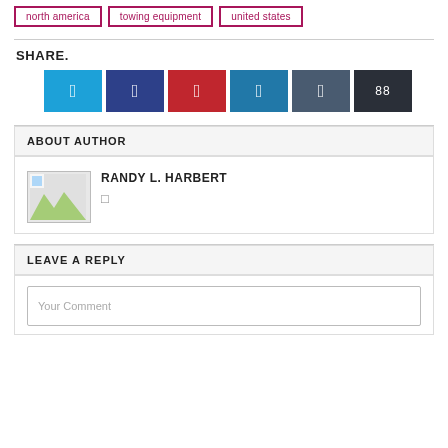north america
towing equipment
united states
SHARE.
[Figure (other): Social share buttons: Twitter, Facebook, Pinterest, LinkedIn, StumbleUpon, generic share (showing count 88)]
ABOUT AUTHOR
RANDY L. HARBERT
LEAVE A REPLY
Your Comment